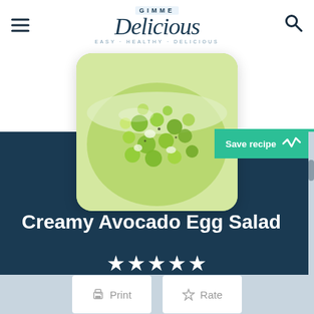[Figure (logo): Gimme Delicious food blog logo with hamburger menu and search icon]
[Figure (photo): Bowl of creamy avocado egg salad, green chunky mixture in a glass bowl]
[Figure (other): Save recipe button with Whisk app icon, teal/green background]
Creamy Avocado Egg Salad
4.87 from 22 votes
Print   Rate